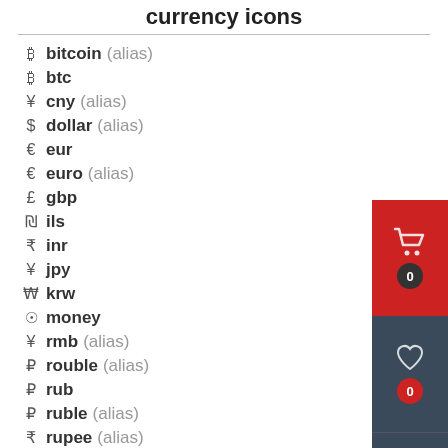currency icons
₿ bitcoin (alias)
₿ btc
¥ cny (alias)
$ dollar (alias)
€ eur
€ euro (alias)
£ gbp
₪ ils
₹ inr
¥ jpy
₩ krw
⊙ money
¥ rmb (alias)
₽ rouble (alias)
₽ rub
₽ ruble (alias)
₹ rupee (alias)